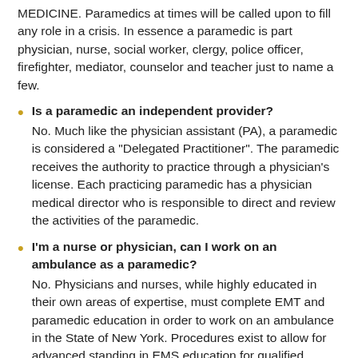MEDICINE. Paramedics at times will be called upon to fill any role in a crisis. In essence a paramedic is part physician, nurse, social worker, clergy, police officer, firefighter, mediator, counselor and teacher just to name a few.
Is a paramedic an independent provider? No. Much like the physician assistant (PA), a paramedic is considered a "Delegated Practitioner". The paramedic receives the authority to practice through a physician's license. Each practicing paramedic has a physician medical director who is responsible to direct and review the activities of the paramedic.
I'm a nurse or physician, can I work on an ambulance as a paramedic? No. Physicians and nurses, while highly educated in their own areas of expertise, must complete EMT and paramedic education in order to work on an ambulance in the State of New York. Procedures exist to allow for advanced standing in EMS education for qualified individuals. Individuals with current MD, DO, RN, or PA...